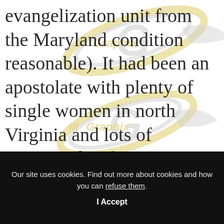evangelization unit from the Maryland condition reasonable). It had been an apostolate with plenty of single women in north Virginia and lots of unmarried males in Baltimore. Thus until we joined forces from the Maryland condition reasonable we
[Figure (logo): illGraphix watermark logo repeated twice — silver and gold stylized 'G' emblem with text 'illGraphix' in gold and silver tones, overlaid on the text content]
Our site uses cookies. Find out more about cookies and how you can refuse them.
I Accept